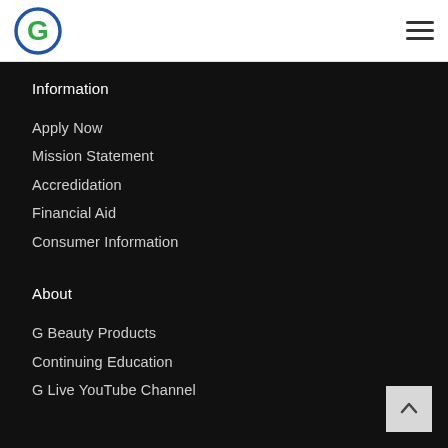[Figure (logo): G logo: circular blue/green G letter icon]
Information
Apply Now
Mission Statement
Accredidation
Financial Aid
Consumer Information
About
G Beauty Products
Continuing Education
G Live YouTube Channel